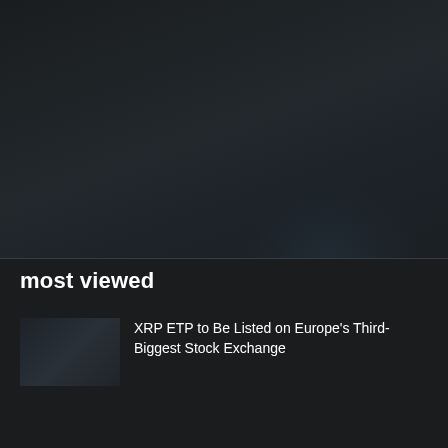[Figure (photo): Dark blurred background image, appears to show a dimly lit scene with dark tones and slight blue-gray hues in the center-right area]
most viewed
XRP ETP to Be Listed on Europe's Third-Biggest Stock Exchange